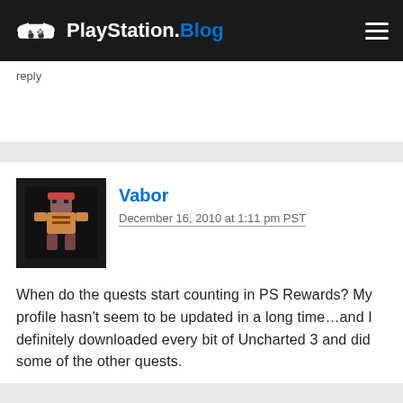PlayStation.Blog
reply
Vabor
December 16, 2010 at 1:11 pm PST
When do the quests start counting in PS Rewards? My profile hasn't seem to be updated in a long time...and I definitely downloaded every bit of Uncharted 3 and did some of the other quests.